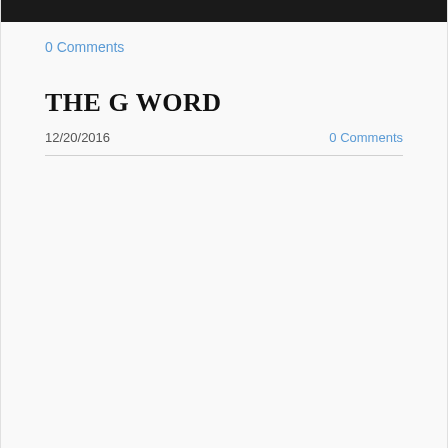0 Comments
THE G WORD
12/20/2016
0 Comments